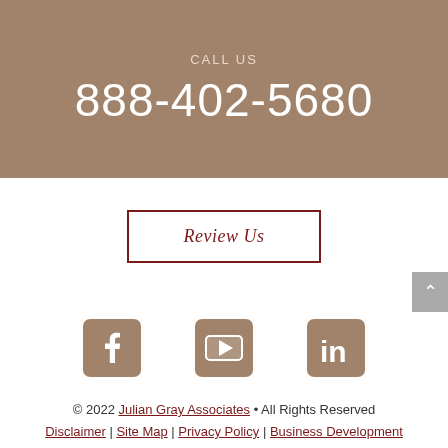CALL US
888-402-5680
Review Us
[Figure (illustration): Social media icons: Facebook, YouTube, LinkedIn, in tan/brown color]
© 2022 Julian Gray Associates • All Rights Reserved | Disclaimer | Site Map | Privacy Policy | Business Development Solutions by FindLaw, part of Thomson Reuters